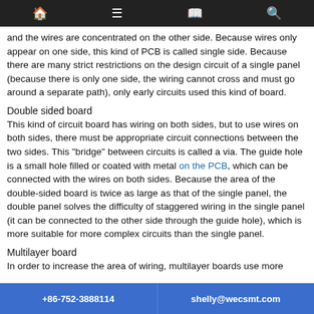[navigation bar with home, menu, book, search icons]
and the wires are concentrated on the other side. Because wires only appear on one side, this kind of PCB is called single side. Because there are many strict restrictions on the design circuit of a single panel (because there is only one side, the wiring cannot cross and must go around a separate path), only early circuits used this kind of board.
Double sided board
This kind of circuit board has wiring on both sides, but to use wires on both sides, there must be appropriate circuit connections between the two sides. This "bridge" between circuits is called a via. The guide hole is a small hole filled or coated with metal on the PCB, which can be connected with the wires on both sides. Because the area of the double-sided board is twice as large as that of the single panel, the double panel solves the difficulty of staggered wiring in the single panel (it can be connected to the other side through the guide hole), which is more suitable for more complex circuits than the single panel.
Multilayer board
In order to increase the area of wiring, multilayer boards use more
+86-752-3888114    shelly@wecsmt.com